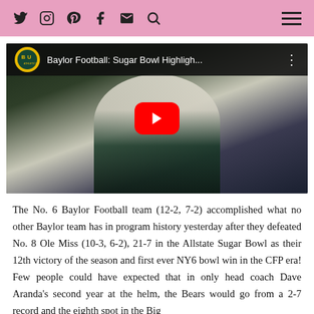Social media navigation bar with Twitter, Instagram, Pinterest, Facebook, Email, Search icons and hamburger menu
[Figure (screenshot): YouTube video embed showing Baylor Football: Sugar Bowl Highligh... with Baylor Athletics logo, a football player in white uniform celebrating, and a red YouTube play button overlay]
The No. 6 Baylor Football team (12-2, 7-2) accomplished what no other Baylor team has in program history yesterday after they defeated No. 8 Ole Miss (10-3, 6-2), 21-7 in the Allstate Sugar Bowl as their 12th victory of the season and first ever NY6 bowl win in the CFP era! Few people could have expected that in only head coach Dave Aranda's second year at the helm, the Bears would go from a 2-7 record and the eighth spot in the Big